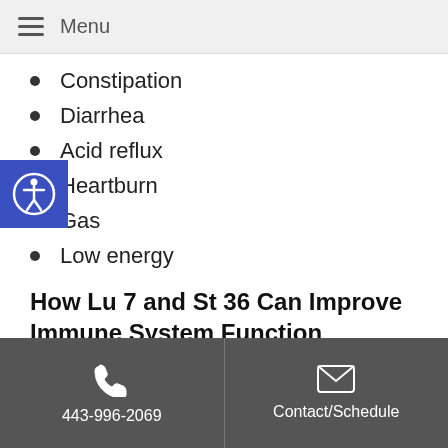Menu
Constipation
Diarrhea
Acid reflux
Heartburn
Gas
Low energy
How Lu 7 and St 36 Can Improve Immune System Function
The human body's built-in mechanism for defending against germs and foreign invaders is the immune system. This complex system is comprised of a variety of different white blood cells, such as neutrophilis,
443-996-2069 | Contact/Schedule